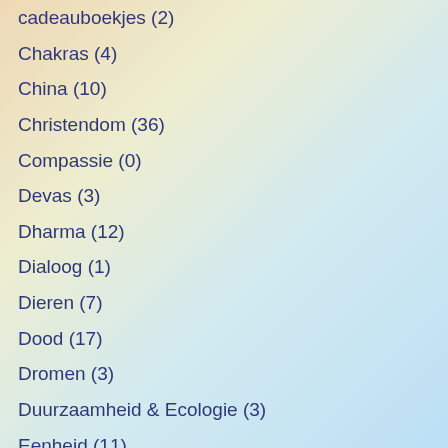cadeauboekjes (2)
Chakras (4)
China (10)
Christendom (36)
Compassie (0)
Devas (3)
Dharma (12)
Dialoog (1)
Dieren (7)
Dood (17)
Dromen (3)
Duurzaamheid & Ecologie (3)
Eenheid (11)
Egypte (9)
Elementenwezens (6)
Energie (1)
Engelen (3)
An...
L...
Nederla...
Auteur:
ISBN:
Quantity: 1
Prijs:
Add To...
Aute
Algeo A